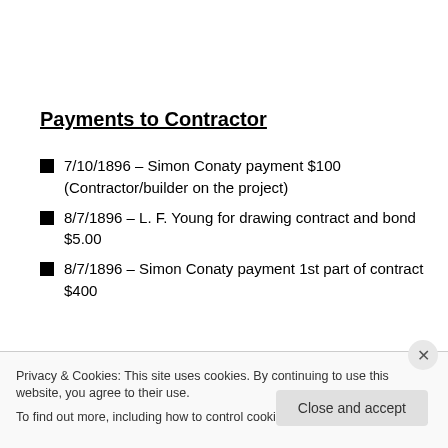Payments to Contractor
7/10/1896 – Simon Conaty payment $100 (Contractor/builder on the project)
8/7/1896 – L. F. Young for drawing contract and bond $5.00
8/7/1896 – Simon Conaty payment 1st part of contract $400
Privacy & Cookies: This site uses cookies. By continuing to use this website, you agree to their use.
To find out more, including how to control cookies, see here: Cookie Policy